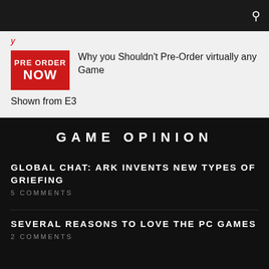y
Why you Shouldn't Pre-Order virtually any Game Shown from E3
GAME OPINION
GLOBAL CHAT: ARK INVENTS NEW TYPES OF GRIEFING
5 COMMENTS
SEVERAL REASONS TO LOVE THE PC GAMES
2 COMMENTS